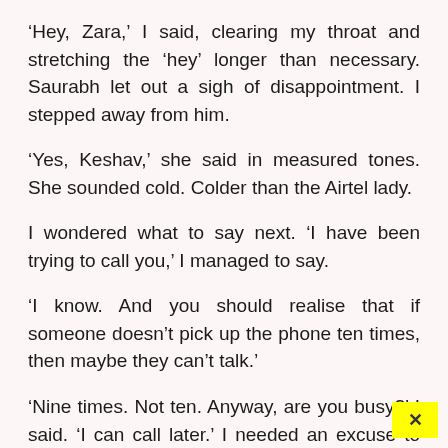‘Hey, Zara,’ I said, clearing my throat and stretching the ‘hey’ longer than necessary. Saurabh let out a sigh of disappointment. I stepped away from him.
‘Yes, Keshav,’ she said in measured tones. She sounded cold. Colder than the Airtel lady.
I wondered what to say next. ‘I have been trying to call you,’ I managed to say.
‘I know. And you should realise that if someone doesn’t pick up the phone ten times, then maybe they can’t talk.’
‘Nine times. Not ten. Anyway, are you busy?’ I said. ‘I can call later.’ I needed an excuse to call her again and hear her voice another time. I hear